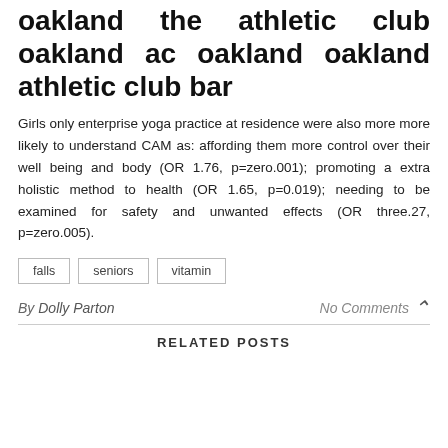oakland the athletic club oakland ac oakland oakland athletic club bar
Girls only enterprise yoga practice at residence were also more more likely to understand CAM as: affording them more control over their well being and body (OR 1.76, p=zero.001); promoting a extra holistic method to health (OR 1.65, p=0.019); needing to be examined for safety and unwanted effects (OR three.27, p=zero.005).
falls
seniors
vitamin
By Dolly Parton
No Comments
RELATED POSTS